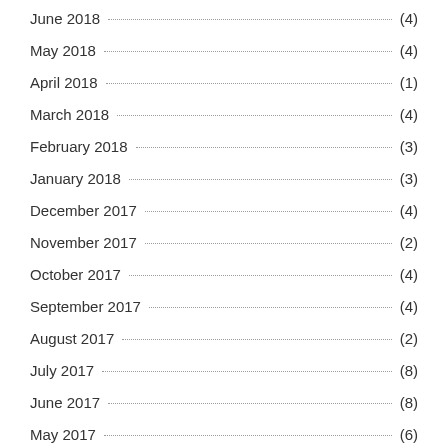June 2018 (4)
May 2018 (4)
April 2018 (1)
March 2018 (4)
February 2018 (3)
January 2018 (3)
December 2017 (4)
November 2017 (2)
October 2017 (4)
September 2017 (4)
August 2017 (2)
July 2017 (8)
June 2017 (8)
May 2017 (6)
April 2017 (1)